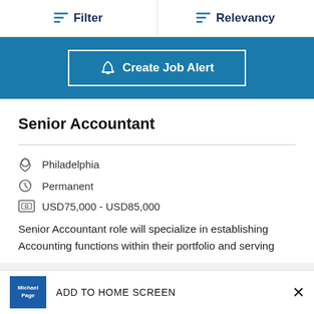Filter | Relevancy
[Figure (screenshot): Blue banner with 'Create Job Alert' button with bell icon]
Senior Accountant
Philadelphia
Permanent
USD75,000 - USD85,000
Senior Accountant role will specialize in establishing Accounting functions within their portfolio and serving
ADD TO HOME SCREEN